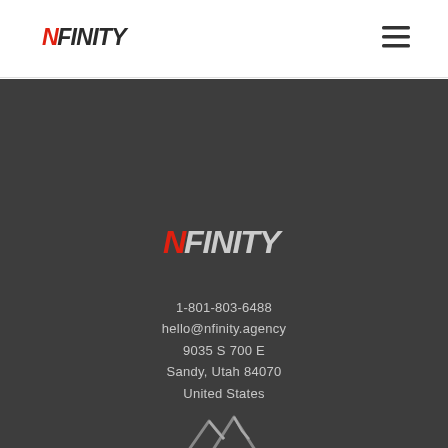NFINITY logo and navigation menu
[Figure (logo): Nfinity agency logo in red and dark gray, stylized italic text reading NFINITY]
[Figure (logo): Nfinity agency logo in red and dark gray on dark background, footer version]
1-801-803-6488
hello@nfinity.agency
9035 S 700 E
Sandy, Utah 84070
United States
[Figure (illustration): Silicon Slopes mountain peaks logo mark with text 'made in Silicon Slopes']